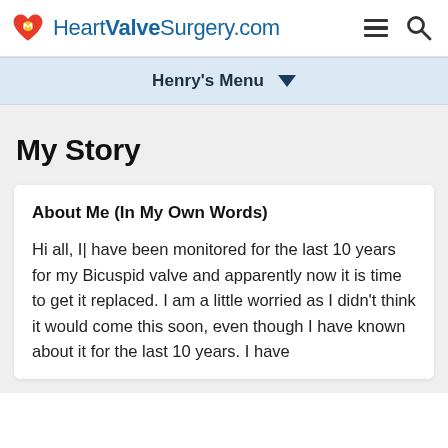HeartValveSurgery.com
Henry's Menu
My Story
About Me (In My Own Words)
Hi all, I| have been monitored for the last 10 years for my Bicuspid valve and apparently now it is time to get it replaced. I am a little worried as I didn't think it would come this soon, even though I have known about it for the last 10 years. I have